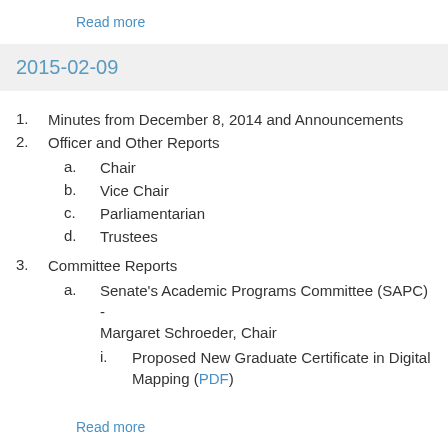Read more
2015-02-09
Minutes from December 8, 2014 and Announcements
Officer and Other Reports
Chair
Vice Chair
Parliamentarian
Trustees
Committee Reports
Senate's Academic Programs Committee (SAPC) - Margaret Schroeder, Chair
Proposed New Graduate Certificate in Digital Mapping (PDF)
Read more